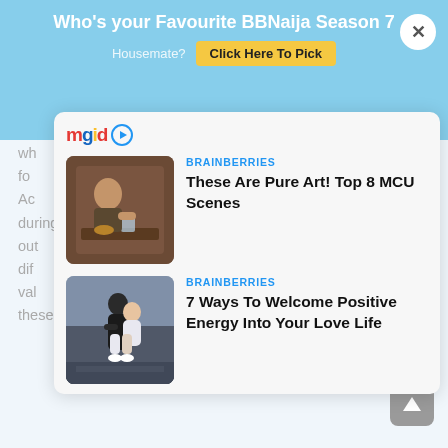Who's your Favourite BBNaija Season 7 Housemate? Click Here To Pick
[Figure (screenshot): mgid logo with play button icon]
wh...t
for
Ac...ed
during special challenges as a reward for individual
out
diff
val for
these coins throughout the season.
[Figure (infographic): MGID content recommendation widget showing two articles: 1) BRAINBERRIES - These Are Pure Art! Top 8 MCU Scenes, with a thumbnail of a man at a table; 2) BRAINBERRIES - 7 Ways To Welcome Positive Energy Into Your Love Life, with a thumbnail of a couple embracing.]